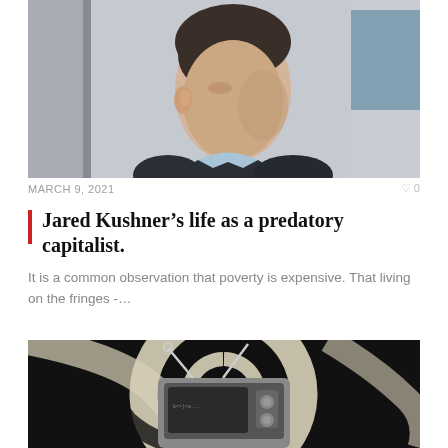[Figure (photo): Close-up photo of a young man in a suit, looking to the side, shot in a corridor with light blue walls.]
MARCH 9, 2021
0
Jared Kushner's life as a predatory capitalist.
It is a common observation that poverty is expensive. That living on the fringes -…
[Figure (illustration): Stylized black and white illustration of a retro television set with swirling hypnotic spiral pattern in the background. Red badge reading AMERICAN MEDIA overlaid on top left.]
AMERICAN MEDIA